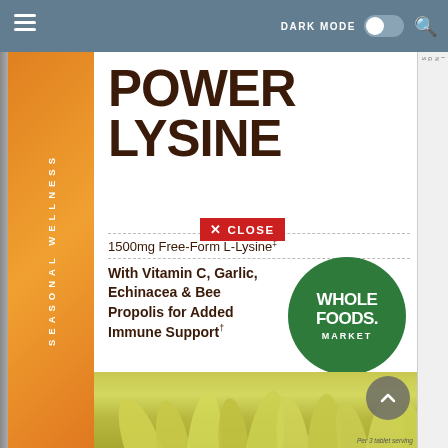[Figure (screenshot): App top navigation bar with hamburger menu, DARK MODE toggle switch (off), and search icon on a steel blue background]
[Figure (photo): Whole Foods Market Power Lysine supplement product label showing orange side bar with SEASONAL WELLNESS text, large brown POWER LYSINE title, 1500mg Free-Form L-Lysine with dagger symbol, With Vitamin C, Garlic, Echinacea & Bee Propolis for Added Immune Support with dagger symbol, Whole Foods Market green circle logo, yellow echinacea flower background, and a red CLOSE button overlay]
POWER LYSINE
1500mg Free-Form L-Lysine‡
With Vitamin C, Garlic, Echinacea & Bee Propolis for Added Immune Support†
SEASONAL WELLNESS
WHOLE FOODS. MARKET
Per 3 tablet serving